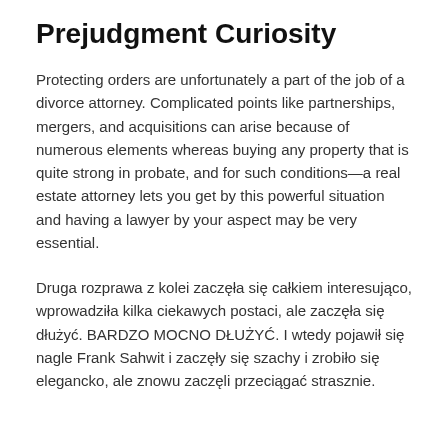Prejudgment Curiosity
Protecting orders are unfortunately a part of the job of a divorce attorney. Complicated points like partnerships, mergers, and acquisitions can arise because of numerous elements whereas buying any property that is quite strong in probate, and for such conditions—a real estate attorney lets you get by this powerful situation and having a lawyer by your aspect may be very essential.
Druga rozprawa z kolei zaczęła się całkiem interesująco, wprowadziła kilka ciekawych postaci, ale zaczęła się dłużyć. BARDZO MOCNO DŁUŻYĆ. I wtedy pojawił się nagle Frank Sahwit i zaczęły się szachy i zrobiło się elegancko, ale znowu zaczęli przeciągać strasznie.